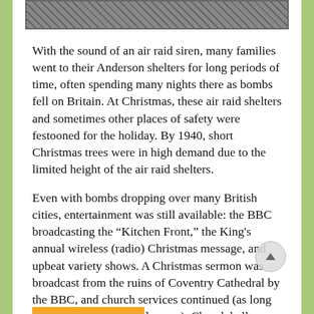[Figure (photo): Black and white photograph (partial, cropped at top of page)]
With the sound of an air raid siren, many families went to their Anderson shelters for long periods of time, often spending many nights there as bombs fell on Britain. At Christmas, these air raid shelters and sometimes other places of safety were festooned for the holiday. By 1940, short Christmas trees were in high demand due to the limited height of the air raid shelters.
Even with bombs dropping over many British cities, entertainment was still available: the BBC broadcasting the “Kitchen Front,” the King's annual wireless (radio) Christmas message, and upbeat variety shows. A Christmas sermon was broadcast from the ruins of Coventry Cathedral by the BBC, and church services continued (as long as there was no bomb-damage). Church bells were not allowed to be rung, as this signified a Nazi invasion, and due to the black out, Britons could not illuminate their windows.